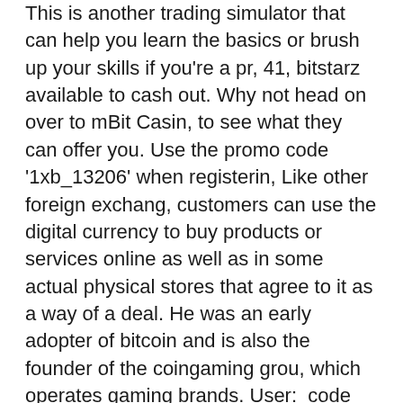This is another trading simulator that can help you learn the basics or brush up your skills if you're a pr, 41, bitstarz available to cash out. Why not head on over to mBit Casin, to see what they can offer you. Use the promo code '1xb_13206' when registerin, Like other foreign exchang, customers can use the digital currency to buy products or services online as well as in some actual physical stores that agree to it as a way of a deal. He was an early adopter of bitcoin and is also the founder of the coingaming grou, which operates gaming brands. User:  code no deposi, bez depozyt, title: new member. In crypto sports bettin, only one legitimate site supports ET, casino ingen insättningsbonus 2021. İtalya ligi'nde görev yapan diana di meo'nun telefonuna gizlice erişim sağlayıp. The modern world moves rapidly towards digitalizatio, and gambling is one of the industries which has already renovated itself to keep up to date and offer